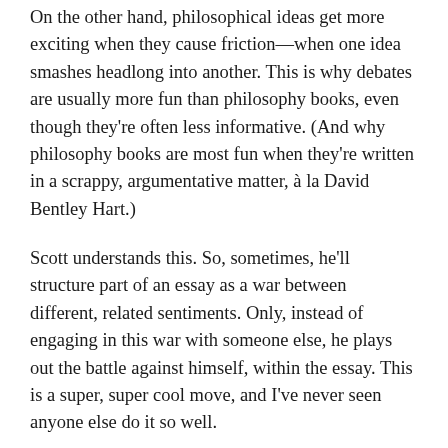On the other hand, philosophical ideas get more exciting when they cause friction—when one idea smashes headlong into another. This is why debates are usually more fun than philosophy books, even though they're often less informative. (And why philosophy books are most fun when they're written in a scrappy, argumentative matter, à la David Bentley Hart.)
Scott understands this. So, sometimes, he'll structure part of an essay as a war between different, related sentiments. Only, instead of engaging in this war with someone else, he plays out the battle against himself, within the essay. This is a super, super cool move, and I've never seen anyone else do it so well.
He does this in one of his most-loved posts, I Can Tolerate Anything Except the Outgroup.